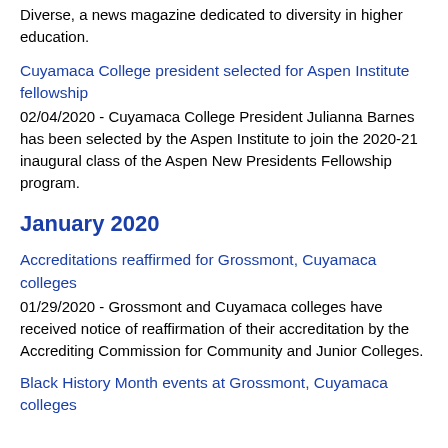Diverse, a news magazine dedicated to diversity in higher education.
Cuyamaca College president selected for Aspen Institute fellowship
02/04/2020 - Cuyamaca College President Julianna Barnes has been selected by the Aspen Institute to join the 2020-21 inaugural class of the Aspen New Presidents Fellowship program.
January 2020
Accreditations reaffirmed for Grossmont, Cuyamaca colleges
01/29/2020 - Grossmont and Cuyamaca colleges have received notice of reaffirmation of their accreditation by the Accrediting Commission for Community and Junior Colleges.
Black History Month events at Grossmont, Cuyamaca colleges